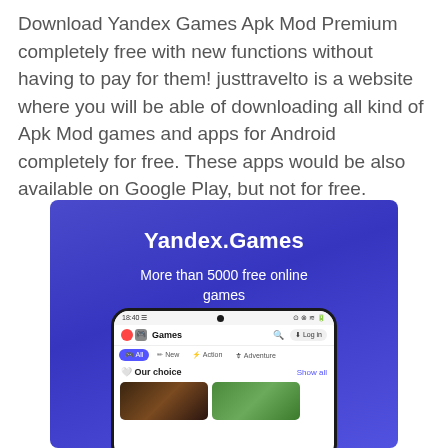Download Yandex Games Apk Mod Premium completely free with new functions without having to pay for them! justtravelto is a website where you will be able of downloading all kind of Apk Mod games and apps for Android completely for free. These apps would be also available on Google Play, but not for free.
[Figure (screenshot): Screenshot of Yandex.Games app interface showing the app name 'Yandex.Games', subtitle 'More than 5000 free online games', and a phone mockup displaying the app with categories All, New, Action, Adventure and a section 'Our choice' with game thumbnails.]